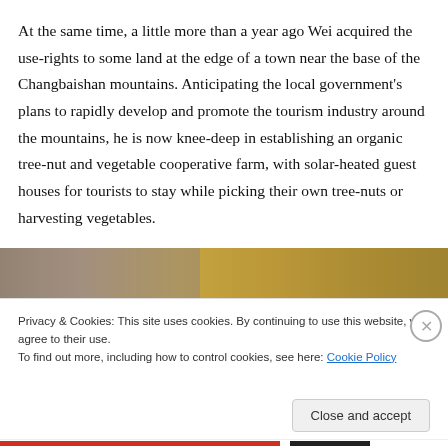At the same time, a little more than a year ago Wei acquired the use-rights to some land at the edge of a town near the base of the Changbaishan mountains. Anticipating the local government's plans to rapidly develop and promote the tourism industry around the mountains, he is now knee-deep in establishing an organic tree-nut and vegetable cooperative farm, with solar-heated guest houses for tourists to stay while picking their own tree-nuts or harvesting vegetables.
[Figure (photo): Partial photo showing outdoor scene, cropped at top of cookie banner overlay]
Privacy & Cookies: This site uses cookies. By continuing to use this website, you agree to their use. To find out more, including how to control cookies, see here: Cookie Policy